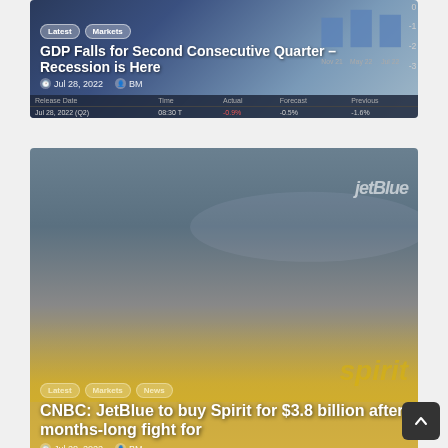[Figure (screenshot): GDP article card with chart background showing GDP falls for second consecutive quarter]
GDP Falls for Second Consecutive Quarter – Recession is Here
Jul 28, 2022  BM
[Figure (photo): JetBlue and Spirit Airlines aircraft on tarmac]
CNBC: JetBlue to buy Spirit for $3.8 billion after months-long fight for
Jul 28, 2022  BM